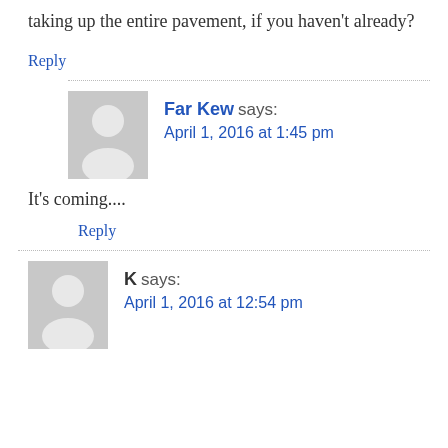taking up the entire pavement, if you haven't already?
Reply
Far Kew says:
April 1, 2016 at 1:45 pm
It's coming....
Reply
K says:
April 1, 2016 at 12:54 pm